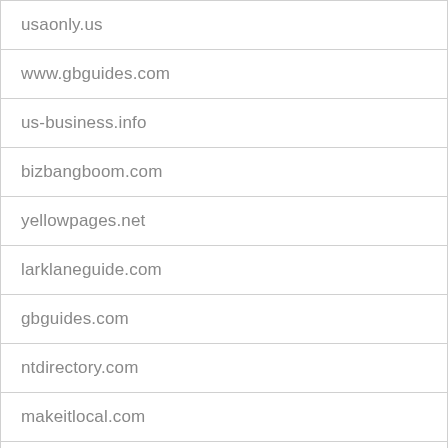| usaonly.us |
| www.gbguides.com |
| us-business.info |
| bizbangboom.com |
| yellowpages.net |
| larklaneguide.com |
| gbguides.com |
| ntdirectory.com |
| makeitlocal.com |
| ducclin.com |